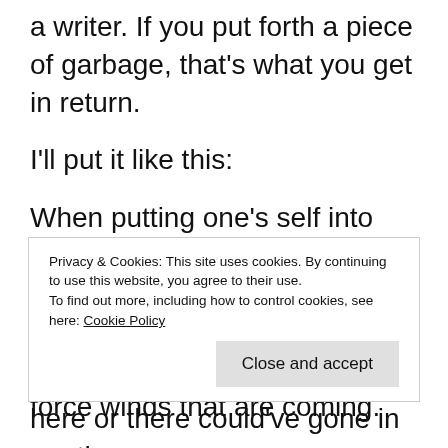a writer. If you put forth a piece of garbage, that's what you get in return.
I'll put it like this:
When putting one's self into the public eye for critique and scrutiny, one must ensure to plant their feet deeply and firmly to withstand the gale force winds that are coming.
It took a long time for me to let a work of
Privacy & Cookies: This site uses cookies. By continuing to use this website, you agree to their use. To find out more, including how to control cookies, see here: Cookie Policy
here or there could've gone in another